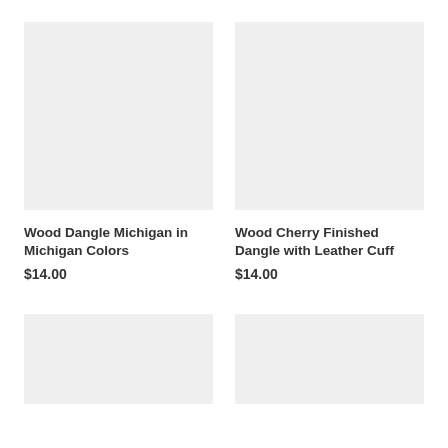[Figure (photo): Product image placeholder for Wood Dangle Michigan in Michigan Colors]
[Figure (photo): Product image placeholder for Wood Cherry Finished Dangle with Leather Cuff]
Wood Dangle Michigan in Michigan Colors
$14.00
Wood Cherry Finished Dangle with Leather Cuff
$14.00
[Figure (photo): Product image placeholder (bottom left)]
[Figure (photo): Product image placeholder (bottom right)]